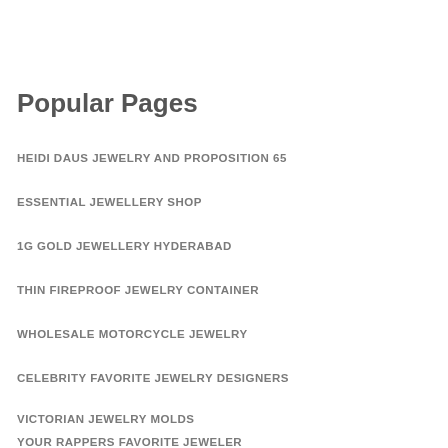Popular Pages
HEIDI DAUS JEWELRY AND PROPOSITION 65
ESSENTIAL JEWELLERY SHOP
1G GOLD JEWELLERY HYDERABAD
THIN FIREPROOF JEWELRY CONTAINER
WHOLESALE MOTORCYCLE JEWELRY
CELEBRITY FAVORITE JEWELRY DESIGNERS
VICTORIAN JEWELRY MOLDS
YOUR RAPPERS FAVORITE JEWELER